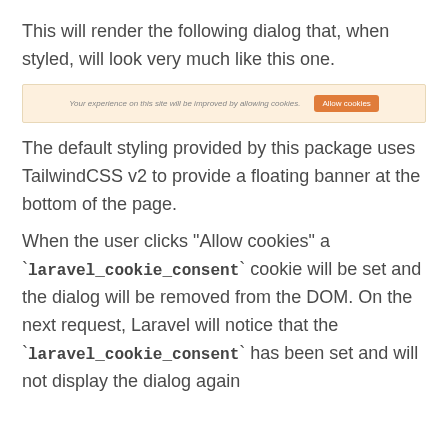This will render the following dialog that, when styled, will look very much like this one.
[Figure (screenshot): A cookie consent banner with a light orange/beige background showing text 'Your experience on this site will be improved by allowing cookies.' and an orange 'Allow cookies' button.]
The default styling provided by this package uses TailwindCSS v2 to provide a floating banner at the bottom of the page.
When the user clicks "Allow cookies" a `laravel_cookie_consent` cookie will be set and the dialog will be removed from the DOM. On the next request, Laravel will notice that the `laravel_cookie_consent` has been set and will not display the dialog again